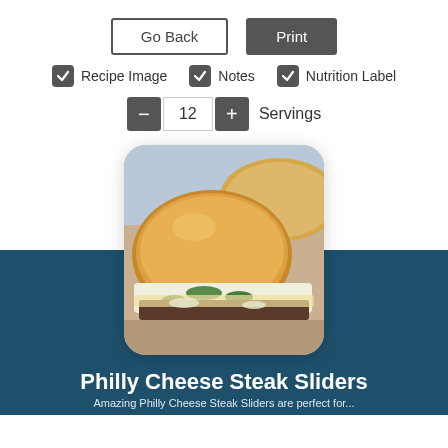[Figure (screenshot): UI with Go Back and Print buttons, checkboxes for Recipe Image, Notes, Nutrition Label, and a servings counter showing 12]
[Figure (photo): Close-up photo of a Philly Cheese Steak Slider — a soft round bun filled with steak, melted cheese, green peppers and onions]
Philly Cheese Steak Sliders
Amazing Philly Cheese Steak Sliders are perfect for...